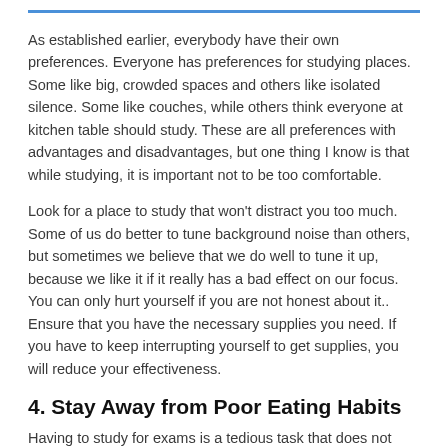As established earlier, everybody have their own preferences. Everyone has preferences for studying places. Some like big, crowded spaces and others like isolated silence. Some like couches, while others think everyone at kitchen table should study. These are all preferences with advantages and disadvantages, but one thing I know is that while studying, it is important not to be too comfortable.
Look for a place to study that won't distract you too much. Some of us do better to tune background noise than others, but sometimes we believe that we do well to tune it up, because we like it if it really has a bad effect on our focus. You can only hurt yourself if you are not honest about it.. Ensure that you have the necessary supplies you need. If you have to keep interrupting yourself to get supplies, you will reduce your effectiveness.
4. Stay Away from Poor Eating Habits
Having to study for exams is a tedious task that does not